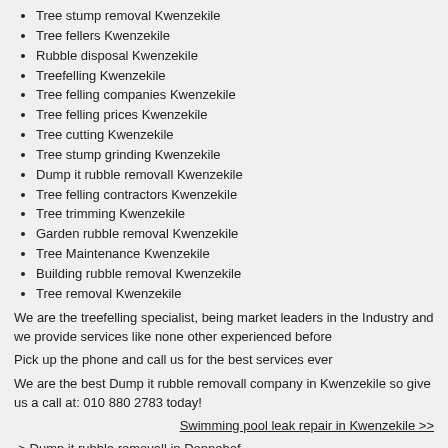Tree stump removal Kwenzekile
Tree fellers Kwenzekile
Rubble disposal Kwenzekile
Treefelling Kwenzekile
Tree felling companies Kwenzekile
Tree felling prices Kwenzekile
Tree cutting Kwenzekile
Tree stump grinding Kwenzekile
Dump it rubble removall Kwenzekile
Tree felling contractors Kwenzekile
Tree trimming Kwenzekile
Garden rubble removal Kwenzekile
Tree Maintenance Kwenzekile
Building rubble removal Kwenzekile
Tree removal Kwenzekile
We are the treefelling specialist, being market leaders in the Industry and we provide services like none other experienced before
Pick up the phone and call us for the best services ever
We are the best Dump it rubble removall company in Kwenzekile so give us a call at: 010 880 2783 today!
Swimming pool leak repair in Kwenzekile >>
-> Dump it rubble removall in Dennehof